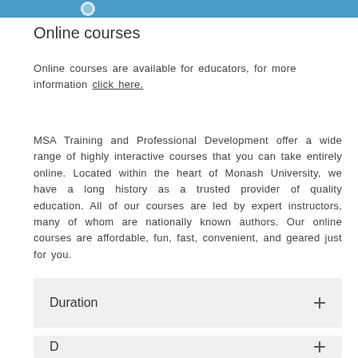Online courses
Online courses are available for educators, for more information click here.
MSA Training and Professional Development offer a wide range of highly interactive courses that you can take entirely online. Located within the heart of Monash University, we have a long history as a trusted provider of quality education. All of our courses are led by expert instructors, many of whom are nationally known authors. Our online courses are affordable, fun, fast, convenient, and geared just for you.
Duration
Duration